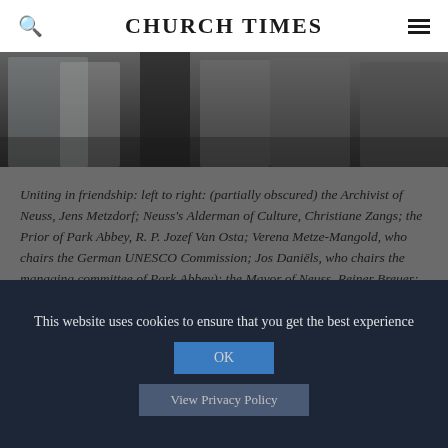CHURCH TIMES
[Figure (photo): Partial photo of group of people, partially obscured, dark background]
Uniting in friendship: left to right: (partially obscured) the Archivist of Neuss, Jens Metzdorf; Neuss's Alderman of Culture, Christiane Zangs; the Prior of Park Abbey, R. P. Jozef Van Osta; Verena Metze-Mangold, who chairs the German UNESCO Commission; Jos Daniëls, who chairs the managing committee of Park Abbey); the Mayor of Neuss, Reiner Breuer; and the Mayor of Leuven, Louis Tobback
This website uses cookies to ensure that you get the best experience
OK
View Privacy Policy